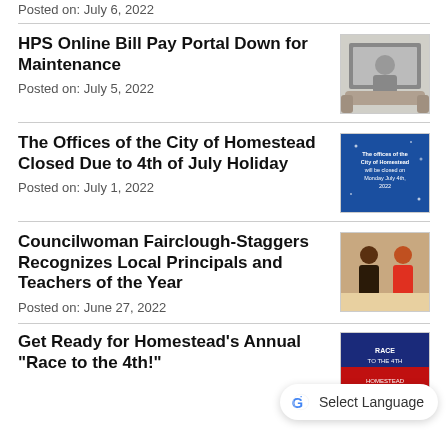Posted on: July 6, 2022
HPS Online Bill Pay Portal Down for Maintenance
Posted on: July 5, 2022
[Figure (photo): Person sitting on couch with laptop]
The Offices of the City of Homestead Closed Due to 4th of July Holiday
Posted on: July 1, 2022
[Figure (photo): Blue graphic announcing city offices closed Monday July 4th 2022]
Councilwoman Fairclough-Staggers Recognizes Local Principals and Teachers of the Year
Posted on: June 27, 2022
[Figure (photo): Councilwoman presenting award to local educator]
Get Ready for Homestead's Annual “Race to the 4th!”
[Figure (photo): Race to the 4th event promotional image]